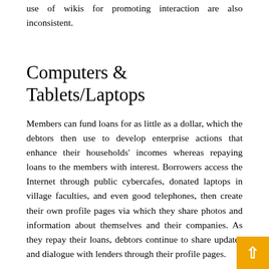use of wikis for promoting interaction are also inconsistent.
Computers & Tablets/Laptops
Members can fund loans for as little as a dollar, which the debtors then use to develop enterprise actions that enhance their households' incomes whereas repaying loans to the members with interest. Borrowers access the Internet through public cybercafes, donated laptops in village faculties, and even good telephones, then create their own profile pages via which they share photos and information about themselves and their companies. As they repay their loans, debtors continue to share updates and dialogue with lenders through their profile pages.
As of 2014, 38 p.c of the world's human inhabitants has used the companies of the Internet within the past ye... over one hundred occasions extra people than were using it in 1995. Internet use grew rapidly in the West